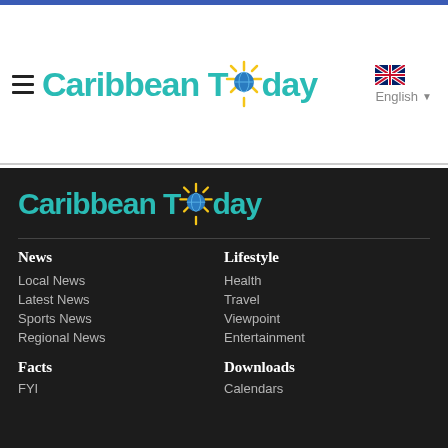Caribbean Today — header with hamburger menu, logo, English language selector
[Figure (logo): Caribbean Today logo in teal with sun icon replacing 'o' in Today]
[Figure (logo): Caribbean Today logo (footer version, larger, on dark background)]
News
Local News
Latest News
Sports News
Regional News
Lifestyle
Health
Travel
Viewpoint
Entertainment
Facts
FYI
Downloads
Calendars